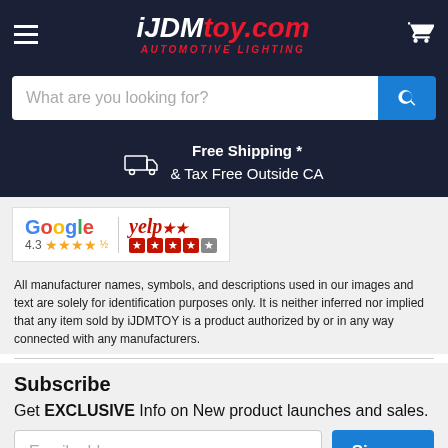iJDMTOY.com Automotive Lighting - navigation header with hamburger menu and cart
What are you looking for?
Free Shipping * & Tax Free Outside CA
[Figure (screenshot): Google 4.3 stars and Yelp 5 stars ratings logos]
All manufacturer names, symbols, and descriptions used in our images and text are solely for identification purposes only. It is neither inferred nor implied that any item sold by iJDMTOY is a product authorized by or in any way connected with any manufacturers.
Subscribe
Get EXCLUSIVE Info on New product launches and sales.
Email address
Sign up